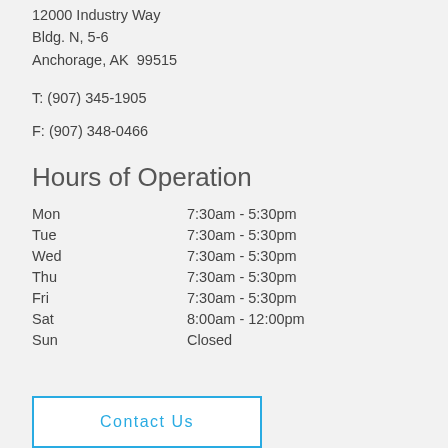12000 Industry Way
Bldg. N, 5-6
Anchorage, AK  99515
T: (907) 345-1905
F: (907) 348-0466
Hours of Operation
| Mon | 7:30am - 5:30pm |
| Tue | 7:30am - 5:30pm |
| Wed | 7:30am - 5:30pm |
| Thu | 7:30am - 5:30pm |
| Fri | 7:30am - 5:30pm |
| Sat | 8:00am - 12:00pm |
| Sun | Closed |
Contact Us